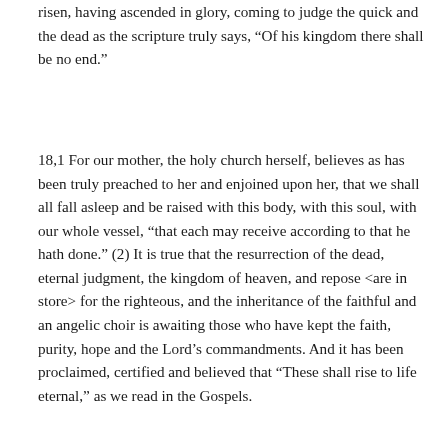risen, having ascended in glory, coming to judge the quick and the dead as the scripture truly says, “Of his kingdom there shall be no end.”
18,1 For our mother, the holy church herself, believes as has been truly preached to her and enjoined upon her, that we shall all fall asleep and be raised with this body, with this soul, with our whole vessel, “that each may receive according to that he hath done.” (2) It is true that the resurrection of the dead, eternal judgment, the kingdom of heaven, and repose <are in store> for the righteous, and the inheritance of the faithful and an angelic choir is awaiting those who have kept the faith, purity, hope and the Lord’s commandments. And it has been proclaimed, certified and believed that “These shall rise to life eternal,” as we read in the Gospels.